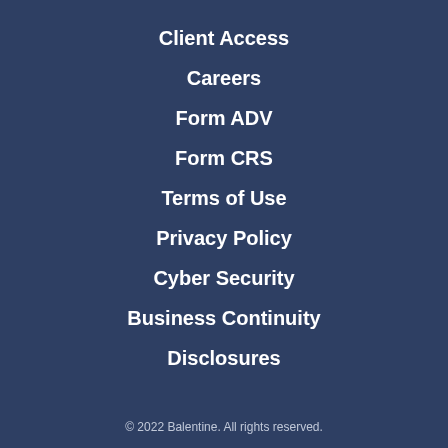Client Access
Careers
Form ADV
Form CRS
Terms of Use
Privacy Policy
Cyber Security
Business Continuity
Disclosures
© 2022 Balentine. All rights reserved.